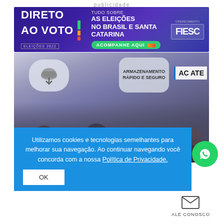publicidade
[Figure (screenshot): Advertisement banner for 'Direto ao Voto' election coverage, sponsored by FIESC. Purple gradient background with text: TUDO SOBRE AS ELEIÇÕES NO BRASIL E SANTA CATARINA. ACOMPANHE AQUI button in green.]
[Figure (photo): Photo of people at a technology event/fair with speech bubbles: cloud download icon bubble on left, 'ARMAZENAMENTO RÁPIDO E SEGURO' speech bubble on right, ACATE sign visible on far right.]
Utilizamos cookies e tecnologias semelhantes para melhorar sua navegação. Ao continuar navegando você concorda com a nossa Política de Privacidade.
OK
ALE CONOSCO